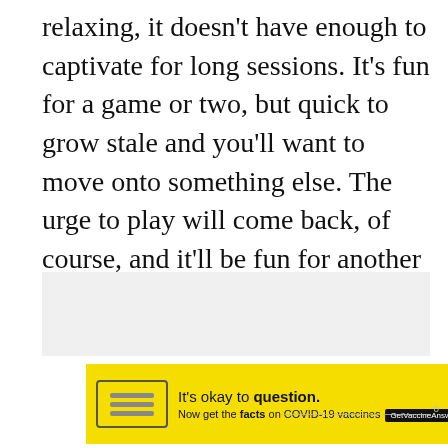relaxing, it doesn't have enough to captivate for long sessions. It's fun for a game or two, but quick to grow stale and you'll want to move onto something else. The urge to play will come back, of course, and it'll be fun for another game or two, but then stale again. Rinse and repeat.
[Figure (other): Gray placeholder box for an embedded content area]
[Figure (other): Yellow advertisement banner: 'It's okay to question. Now get the facts on COVID-19 vaccines – GetVaccineAnswers.org' with a stamp icon and close button]